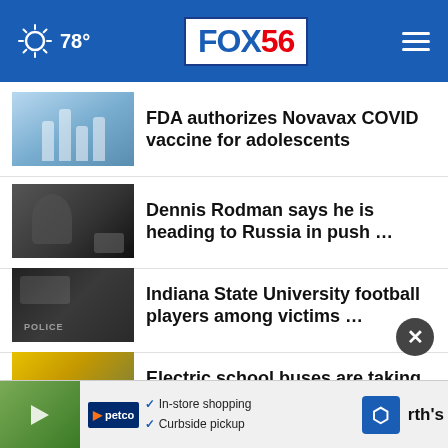[Figure (screenshot): FOX 56 news website header with blue background, weather showing sun icon and 78°, FOX56 logo in center, hamburger menu on right]
[Figure (photo): Thumbnail image for FDA Novavax COVID vaccine story]
FDA authorizes Novavax COVID vaccine for adolescents
[Figure (photo): Thumbnail image for Dennis Rodman Russia story]
Dennis Rodman says he is heading to Russia in push …
[Figure (photo): Thumbnail image for Indiana State University football story]
Indiana State University football players among victims …
[Figure (photo): Thumbnail image for electric school buses story]
Electric school buses are taking students back to …
[Figure (photo): Thumbnail image for Lexington police shooting story]
Lexington police investigating shooting on New Circle …
[Figure (screenshot): Petco advertisement banner with in-store shopping and curbside pickup text]
rth's